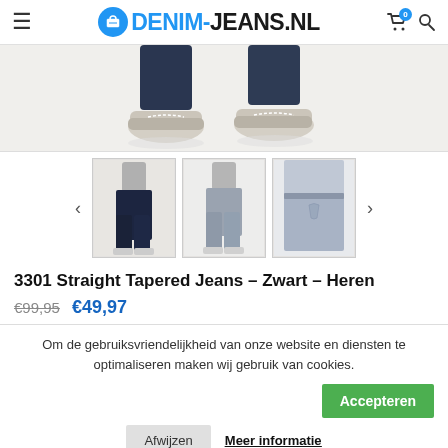DENIM-JEANS.NL
[Figure (photo): Close-up of a person wearing dark jeans and light beige/cream sneakers, cropped to show only the lower legs and feet on a light background.]
[Figure (photo): Three product thumbnail images of jeans: first showing full dark jeans on a model, second showing lighter grey jeans on a model, third showing a close-up rear/side view of light grey jeans.]
3301 Straight Tapered Jeans – Zwart – Heren
€99,95  €49,97
Om de gebruiksvriendelijkheid van onze website en diensten te optimaliseren maken wij gebruik van cookies.
Accepteren
Afwijzen
Meer informatie